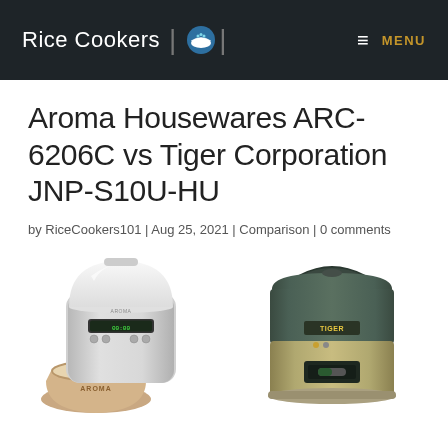Rice Cookers | [icon] MENU
Aroma Housewares ARC-6206C vs Tiger Corporation JNP-S10U-HU
by RiceCookers101 | Aug 25, 2021 | Comparison | 0 comments
[Figure (photo): Two rice cookers side by side: Aroma Housewares ARC-6206C (white/silver, digital, with an inner pot of rice in front, branded AROMA) on the left, and Tiger Corporation JNP-S10U-HU (dark teal/gold stainless steel) on the right.]